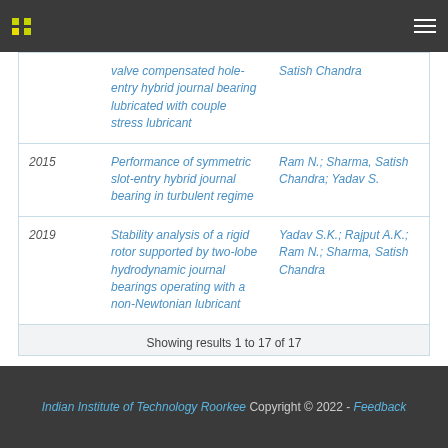IIT Roorkee repository search results - navigation bar
| Year | Title | Authors |
| --- | --- | --- |
|  | valve compensated hole-entry hybrid journal bearing lubricated with couple stress lubricant | Satish Chandra |
| 2015 | Performance of symmetric slot-entry hybrid journal bearing in turbulent regime | Ram N.; Sharma, Satish Chandra; Yadav S. |
| 2019 | Stability analysis of a rigid rotor supported by two-lobe hydrodynamic journal bearings operating with a non-Newtonian lubricant | Yadav S.K.; Rajput A.K.; Ram N.; Sharma, Satish Chandra |
Showing results 1 to 17 of 17
Indian Institute of Technology Roorkee Copyright © 2022  -  Feedback